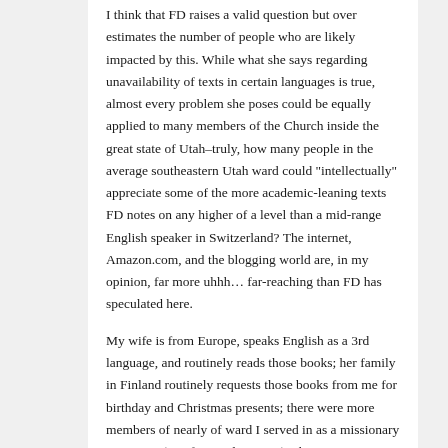I think that FD raises a valid question but over estimates the number of people who are likely impacted by this. While what she says regarding unavailability of texts in certain languages is true, almost every problem she poses could be equally applied to many members of the Church inside the great state of Utah–truly, how many people in the average southeastern Utah ward could "intellectually" appreciate some of the more academic-leaning texts FD notes on any higher of a level than a mid-range English speaker in Switzerland? The internet, Amazon.com, and the blogging world are, in my opinion, far more uhhh… far-reaching than FD has speculated here.
My wife is from Europe, speaks English as a 3rd language, and routinely reads those books; her family in Finland routinely requests those books from me for birthday and Christmas presents; there were more members of nearly of ward I served in as a missionary in Europe (in a foreign language) who